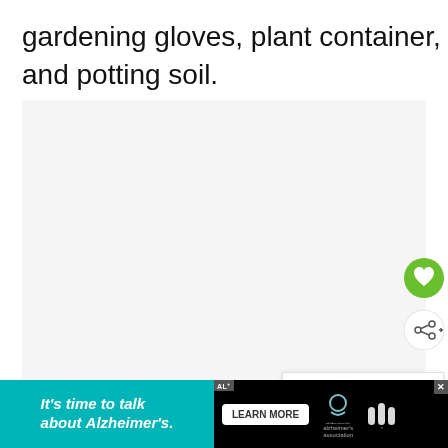gardening gloves, plant container, and potting soil.
[Figure (photo): Large light gray placeholder image area for a gardening photo, with a green heart/favorite button and a white share button overlaid at the right side, and a 'WHAT'S NEXT' panel showing a Watermelon Peperomia thumbnail and text.]
[Figure (infographic): Advertisement banner at bottom: teal section with italic text 'It's time to talk about Alzheimer's.' with a 'LEARN MORE' button, Alzheimer's Association logo, and a brand logo on black background. Close/ad label icon shown.]